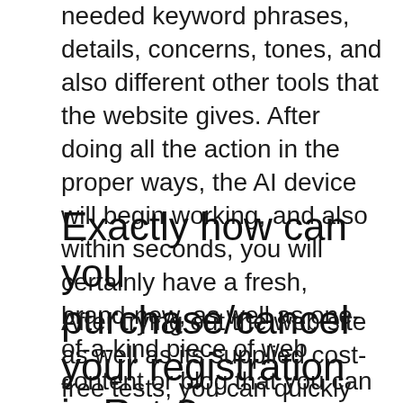needed keyword phrases, details, concerns, tones, and also different other tools that the website gives. After doing all the action in the proper ways, the AI device will begin working, and also within seconds, you will certainly have a fresh, brand-new, as well as one-of-a-kind piece of web content or blog that you can show your group or post today.
Exactly how can you purchase/cancel your registration in Rytr?
After trying out the web site as well as its supplied cost-free tests, you can quickly acquire the registration that will be based upon the plan you pick. After paying for your